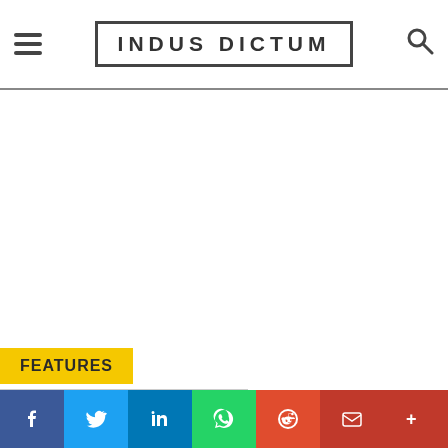INDUS DICTUM
FEATURES
[Figure (photo): Partial photo of a person, cropped at bottom of page]
Follow
Social share bar: f, twitter, in, whatsapp, reddit, email, more